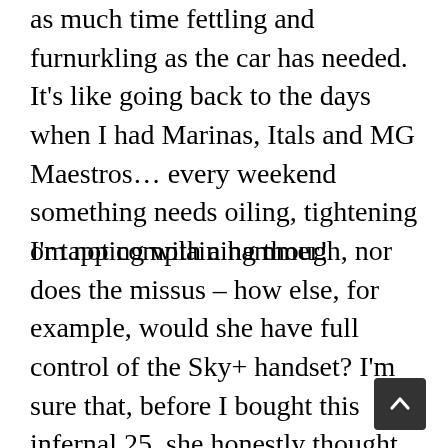as much time fettling and furnurkling as the car has needed. It's like going back to the days when I had Marinas, Itals and MG Maestros… every weekend something needs oiling, tightening or tapping with a hammer!
I'm not complaining though, nor does the missus – how else, for example, would she have full control of the Sky+ handset? I'm sure that, before I bought this infernal 25, she honestly thought that Sky only ever broadcast The Professionals, The Sweeney and re-runs of Top Gear.